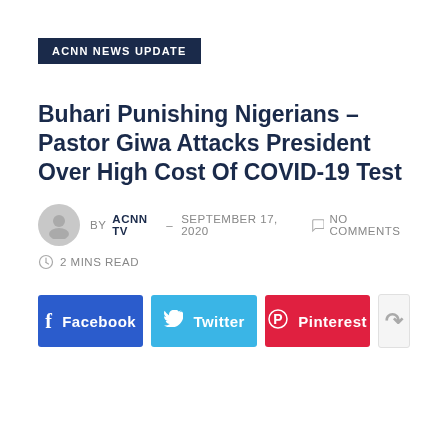ACNN NEWS UPDATE
Buhari Punishing Nigerians – Pastor Giwa Attacks President Over High Cost Of COVID-19 Test
BY ACNN TV – SEPTEMBER 17, 2020  NO COMMENTS  2 MINS READ
[Figure (other): Social share buttons: Facebook, Twitter, Pinterest, and a generic share icon button]